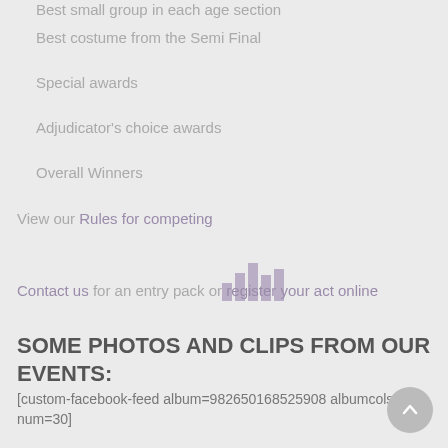Best small group in each age section
Best costume from the Semi Final
Special awards
Adjudicator's choice awards
Overall Winners
View our Rules for competing
[Figure (infographic): Small decorative bar chart icon in muted purple]
Contact us for an entry pack or register your act online
SOME PHOTOS AND CLIPS FROM OUR EVENTS:
[custom-facebook-feed album=982650168525908 albumcols=2 num=30]